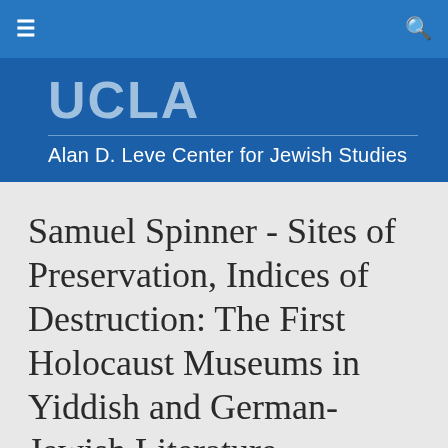≡  🔍
UCLA
Alan D. Leve Center for Jewish Studies
Samuel Spinner - Sites of Preservation, Indices of Destruction: The First Holocaust Museums in Yiddish and German-Jewish Literature (4/25/2013)